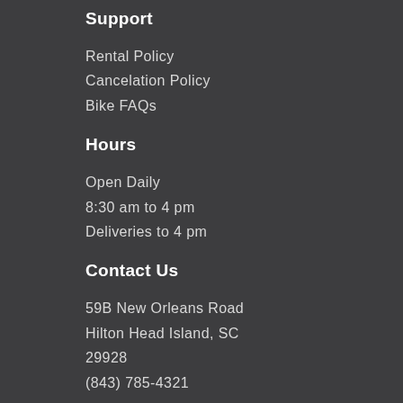Support
Rental Policy
Cancelation Policy
Bike FAQs
Hours
Open Daily
8:30 am to 4 pm
Deliveries to 4 pm
Contact Us
59B New Orleans Road
Hilton Head Island, SC
29928
(843) 785-4321